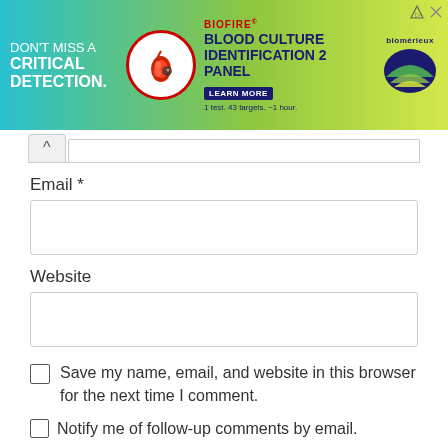[Figure (infographic): BioFire Blood Culture Identification 2 Panel advertisement banner with teal/green gradient background. Text: DON'T MISS A CRITICAL DETECTION. BIOFIRE BLOOD CULTURE IDENTIFICATION 2 PANEL. LEARN MORE. 1 test. 43 targets. ~1 hour. bioMérieux logo.]
Email *
Website
Save my name, email, and website in this browser for the next time I comment.
Notify me of follow-up comments by email.
Notify me of new posts by email.
POST COMMENT